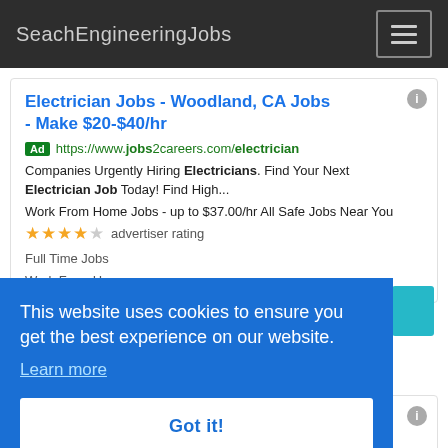SeachEngineeringJobs
Electrician Jobs - Woodland, CA Jobs - Make $20-$40/hr
Ad https://www.jobs2careers.com/electrician
Companies Urgently Hiring Electricians. Find Your Next Electrician Job Today! Find High...
Work From Home Jobs - up to $37.00/hr All Safe Jobs Near You
★★★★☆ advertiser rating
Full Time Jobs
Work From Home
This website uses cookies to ensure you get the best experience on our website.
Learn more
Got it!
★★★★★ advertiser rating